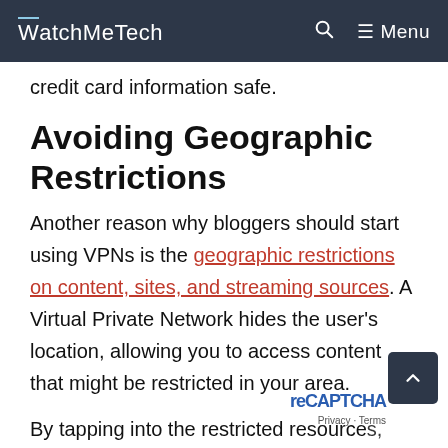WatchMeTech  🔍  ≡ Menu
credit card information safe.
Avoiding Geographic Restrictions
Another reason why bloggers should start using VPNs is the geographic restrictions on content, sites, and streaming sources. A Virtual Private Network hides the user's location, allowing you to access content that might be restricted in your area.
By tapping into the restricted resources, you can improve the quality of your blog